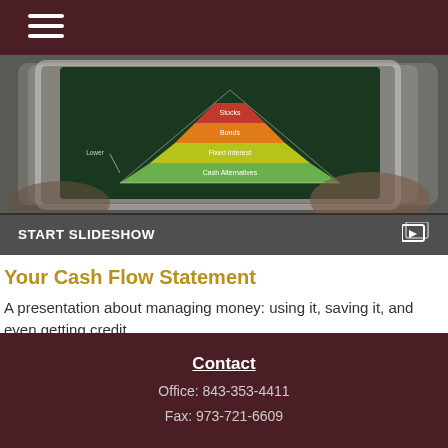[Figure (photo): A hand holding a tablet displaying an investment pyramid chart with layers labeled: Stocks, Bonds, Fixed Interest, Cash Alternatives, with a label 'Lower' on the left side. Dark green background on the tablet screen.]
START SLIDESHOW
Your Cash Flow Statement
A presentation about managing money: using it, saving it, and even getting credit.
Contact
Office: 843-353-4411
Fax: 973-721-6609